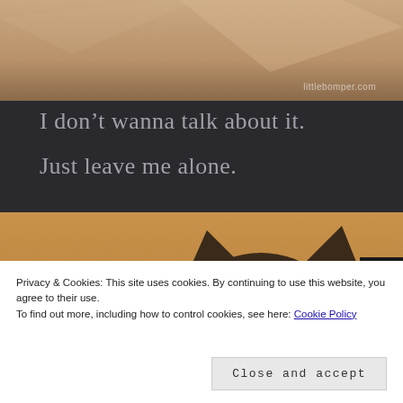[Figure (photo): Top portion of a photo showing a blurred warm-toned background with text 'littlebomper.com' watermark in lower right corner]
I don’t wanna talk about it.
Just leave me alone.
[Figure (photo): Photo of a cat seen from behind, showing the back of its head and ears against a warm tan/orange background]
Privacy & Cookies: This site uses cookies. By continuing to use this website, you agree to their use.
To find out more, including how to control cookies, see here: Cookie Policy
Close and accept